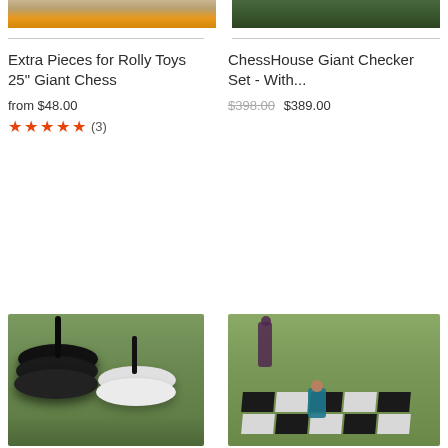[Figure (photo): Top portion of product image for Extra Pieces for Rolly Toys 25 inch Giant Chess, cropped at top]
Extra Pieces for Rolly Toys 25" Giant Chess
from $48.00
★★★★★ (3)
[Figure (photo): Top portion of product image for ChessHouse Giant Checker Set, cropped at top showing outdoor setting]
ChessHouse Giant Checker Set - With...
$398.00 $389.00
[Figure (photo): Black and white checker discs on grass, stack of black discs and white discs with handles]
[Figure (photo): Giant outdoor checkerboard on grass with two children playing]